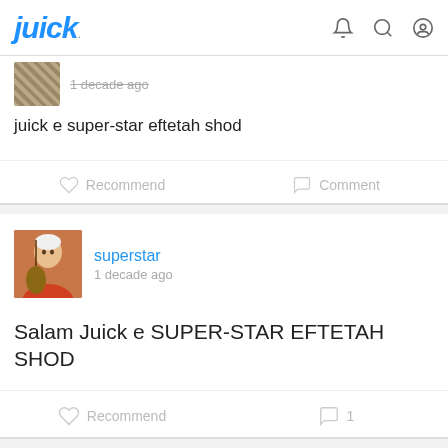juick
[Figure (screenshot): Partial post card top: thumbnail avatar, timestamp '1 decade ago' (struck through), post text 'juick e super-star eftetah shod', with Recommend and Comment buttons]
juick e super-star eftetah shod
[Figure (screenshot): Post card: user avatar (old man playing sitar), username 'superstar', timestamp '1 decade ago', post text 'Salam Juick e SUPER-STAR EFTETAH SHOD', Recommend button and Comment button with count 1]
Salam Juick e SUPER-STAR EFTETAH SHOD